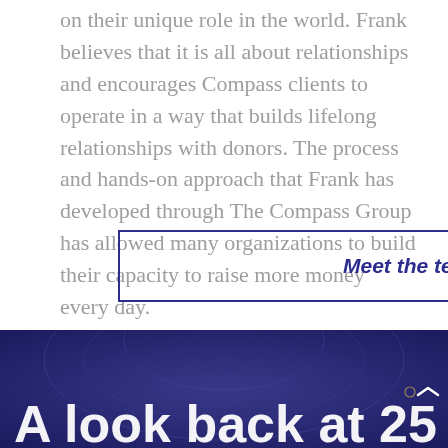on their unique role in the world. Frank believes that it is all about relationships and encourages Compass clients to operate in a way that builds lifelong relationships with donors. The process and hands-on approach that Frank has developed through The Compass Group has allowed many organizations to build their capacity to raise more money every day.
Meet the team
[Figure (photo): Dark navy blue section with an architectural/decorative background image (appears to be an ornate ceiling or dome). Contains large white bold text partially visible reading 'A look back at 25' at the bottom, and a small white chevron/caret icon in the lower right.]